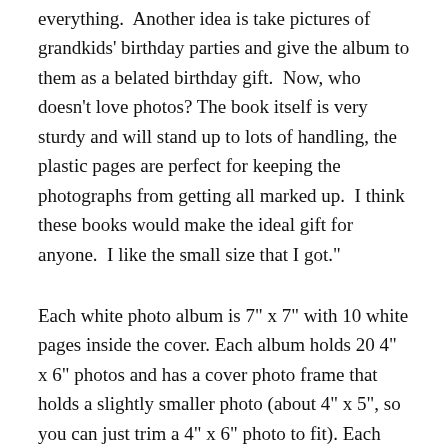everything.  Another idea is take pictures of grandkids' birthday parties and give the album to them as a belated birthday gift.  Now, who doesn't love photos?  The book itself is very sturdy and will stand up to lots of handling, the plastic pages are perfect for keeping the photographs from getting all marked up.  I think these books would make the ideal gift for anyone.  I like the small size that I got."
Each white photo album is 7" x 7" with 10 white pages inside the cover. Each album holds 20 4" x 6" photos and has a cover photo frame that holds a slightly smaller photo (about 4" x 5", so you can just trim a 4" x 6" photo to fit). Each white Take Your Pix ™ board book album retailed at about $9 and comes in a